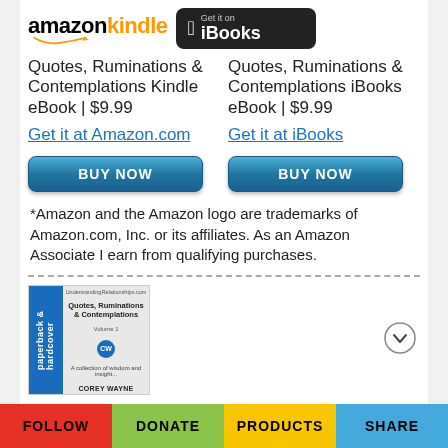[Figure (logo): Amazon Kindle logo with orange smile arrow]
[Figure (logo): Get it on iBooks badge with Apple logo on black rounded rectangle]
Quotes, Ruminations & Contemplations Kindle eBook | $9.99
Quotes, Ruminations & Contemplations iBooks eBook | $9.99
Get it at Amazon.com
Get it at iBooks
[Figure (other): BUY NOW button - blue gradient rounded rectangle]
[Figure (other): BUY NOW button - blue gradient rounded rectangle]
*Amazon and the Amazon logo are trademarks of Amazon.com, Inc. or its affiliates. As an Amazon Associate I earn from qualifying purchases.
[Figure (photo): Book cover for Quotes, Ruminations & Contemplations by Corey Wayne, showing paperback & hardcover edition with blue spine]
FOLLOW | DONATE | PRODUCTS | SHARE